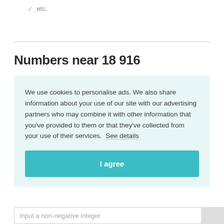✓ etc.
Numbers near 18 916
We use cookies to personalise ads. We also share information about your use of our site with our advertising partners who may combine it with other information that you've provided to them or that they've collected from your use of their services.  See details
I agree
Input a non-negative integer